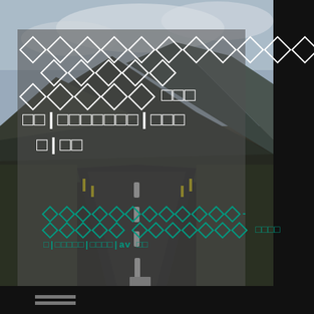[Figure (photo): A straight empty road stretching toward mountains in Iceland or similar Nordic landscape, with dark asphalt, white dashed center lines, green grass on sides, and dramatic mountain backdrop with cloudy sky. A dark gray semi-transparent overlay box sits over the upper portion. The right edge has a dark vertical panel. The image has corrupted/unreadable text rendered as diamond question mark symbols in white and teal.]
? ? ? ? ? ? ? ? ? ? ? ?
? ? ? ? ?
? ? ? ? ? □□□
□□|□□□□□□□|□□□
□|□□
????????????-
????? ??????? □□□□
□|□□□□□|□□□□|av □□